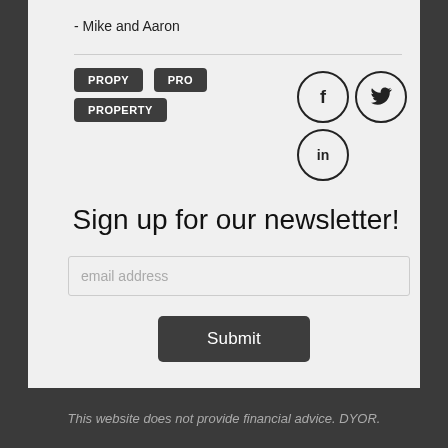- Mike and Aaron
[Figure (other): Tag buttons: PROPY, PRO, PROPERTY; Social icons: Facebook (f), Twitter (bird), LinkedIn (in)]
Sign up for our newsletter!
email address
Submit
This website does not provide financial advice. DYOR.